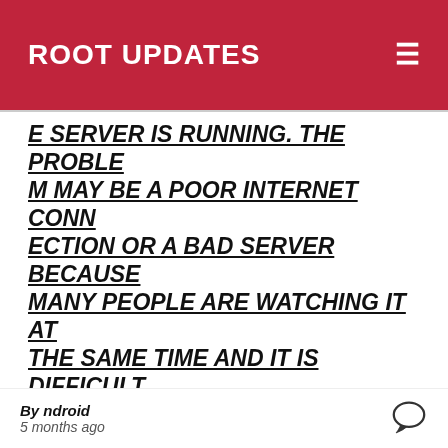ROOT UPDATES
E SERVER IS RUNNING. THE PROBLEM MAY BE A POOR INTERNET CONNECTION OR A BAD SERVER BECAUSE MANY PEOPLE ARE WATCHING IT AT THE SAME TIME AND IT IS DIFFICULT THE SOLUTION IS TO SWITCH ONE IPTV STB SERVER TO ANOTHER.
STBEMU IPTV SMART SERVER 2022 WORKS WITH IPTV COMPATIBLE DEVICES AND WITH STB PORTAL FORMATS SUCH AS SMART TV, ANDROID TV, PC
By ndroid
5 months ago